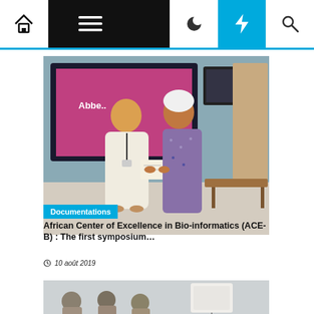Navigation bar with home, menu, moon, bolt, and search icons
[Figure (photo): Two people standing together indoors, one in white robes and one in a patterned dress holding a certificate, in front of a large screen showing a conference presentation]
Documentations
African Center of Excellence in Bio-informatics (ACE-B) : The first symposium…
10 août 2019
[Figure (photo): People seated in a room facing a whiteboard or screen, likely a classroom or seminar setting]